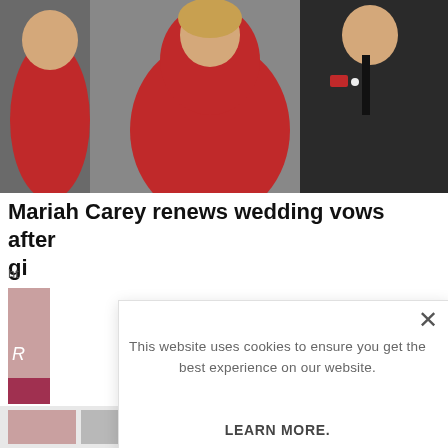[Figure (photo): Photo of a woman in a red dress and a man in a dark suit, shot from chest up, at what appears to be a public event.]
Mariah Carey renews wedding vows after gi
ht
[Figure (photo): Thumbnail image, partially visible, appears to be a book cover or magazine cover with pink tones and the letter R.]
[Figure (photo): Thumbnail image, partially visible, dark tones.]
This website uses cookies to ensure you get the best experience on our website.
LEARN MORE.
ACCEPT COOKIES